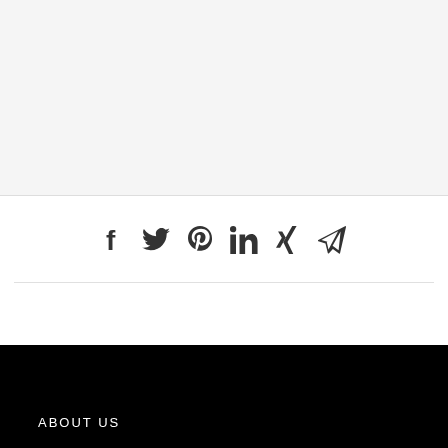[Figure (other): Large light gray empty area at the top of the page]
[Figure (infographic): Social media share icons row: Facebook (f), Twitter (bird), Pinterest (p), LinkedIn (in), Xing (x), Send/Telegram (paper plane)]
ABOUT US